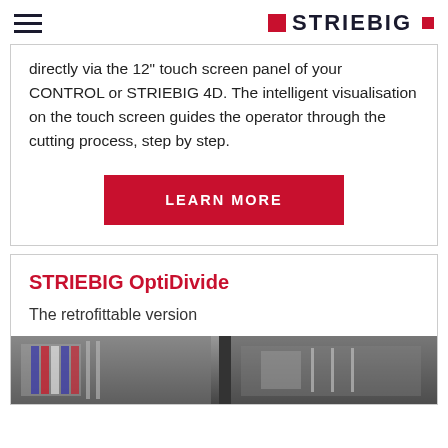STRIEBIG
directly via the 12" touch screen panel of your CONTROL or STRIEBIG 4D. The intelligent visualisation on the touch screen guides the operator through the cutting process, step by step.
LEARN MORE
STRIEBIG OptiDivide
The retrofittable version
[Figure (photo): Bottom strip showing a photo of machinery/equipment]